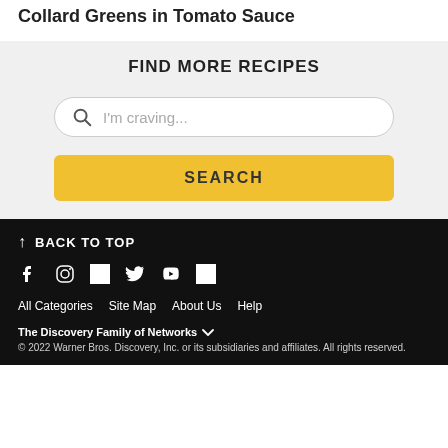Collard Greens in Tomato Sauce
FIND MORE RECIPES
I'm craving...
SEARCH
↑ BACK TO TOP
[Figure (other): Social media icons: Facebook, Instagram, square icon, Twitter, YouTube, square icon]
All Categories   Site Map   About Us   Help
The Discovery Family of Networks ^
© 2022 Warner Bros. Discovery, Inc. or its subsidiaries and affiliates. All rights reserved.